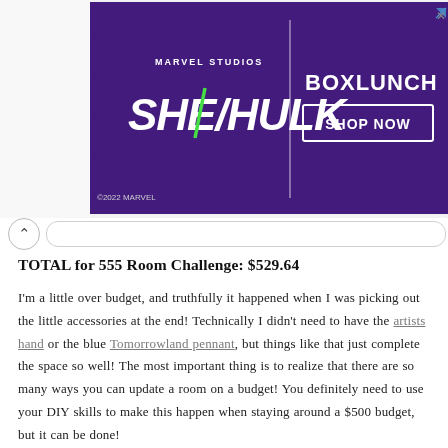[Figure (screenshot): Advertisement banner for Marvel Studios She-Hulk x BoxLunch with 'Shop Now' button on purple brick background. ©2022 MARVEL. Includes ad indicator arrow and X icons top right.]
TOTAL for 555 Room Challenge: $529.64
I'm a little over budget, and truthfully it happened when I was picking out the little accessories at the end! Technically I didn't need to have the artists hand or the blue Tomorrowland pennant, but things like that just complete the space so well! The most important thing is to realize that there are so many ways you can update a room on a budget! You definitely need to use your DIY skills to make this happen when staying around a $500 budget, but it can be done!
Like I mentioned in my "$500 Master Bedroom